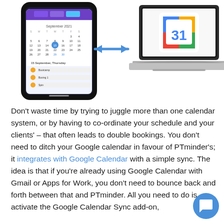[Figure (illustration): Illustration showing a smartphone with a calendar app (PTminder) on the left, a double-headed blue arrow in the center indicating sync, and a laptop displaying the Google Calendar icon (the colorful '31' calendar logo) on the right.]
Don't waste time by trying to juggle more than one calendar system, or by having to co-ordinate your schedule and your clients' – that often leads to double bookings. You don't need to ditch your Google calendar in favour of PTminder's; it integrates with Google Calendar with a simple sync. The idea is that if you're already using Google Calendar with Gmail or Apps for Work, you don't need to bounce back and forth between that and PTminder. All you need to do is activate the Google Calendar Sync add-on,